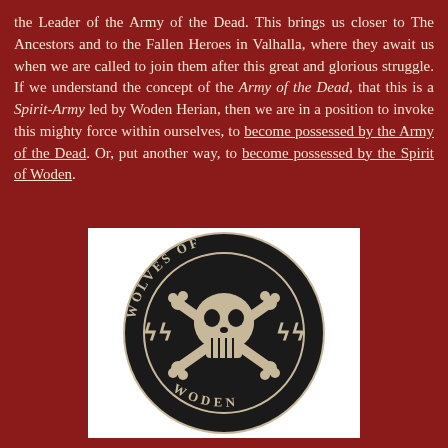the Leader of the Army of the Dead. This brings us closer to The Ancestors and to the Fallen Heroes in Valhalla, where they await us when we are called to join them after this great and glorious struggle. If we understand the concept of the Army of the Dead, that this is a Spirit-Army led by Woden Herian, then we are in a position to invoke this mighty force within ourselves, to become possessed by the Army of the Dead. Or, put another way, to become possessed by the Spirit of Woden.
[Figure (illustration): Circular emblem with dark background showing a skull and crossbones in the center, SS runes on left and right sides, with text 'WOLVES OF WODEN' around the outer ring in gothic lettering.]